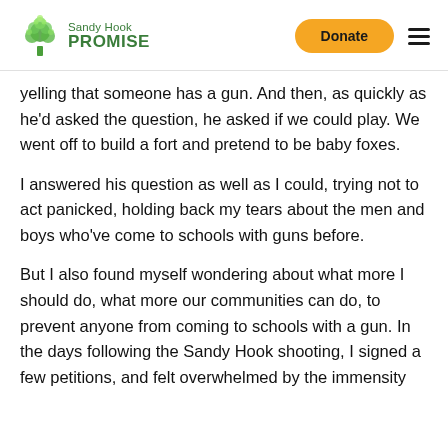Sandy Hook Promise | Donate
yelling that someone has a gun. And then, as quickly as he'd asked the question, he asked if we could play. We went off to build a fort and pretend to be baby foxes.
I answered his question as well as I could, trying not to act panicked, holding back my tears about the men and boys who've come to schools with guns before.
But I also found myself wondering about what more I should do, what more our communities can do, to prevent anyone from coming to schools with a gun. In the days following the Sandy Hook shooting, I signed a few petitions, and felt overwhelmed by the immensity